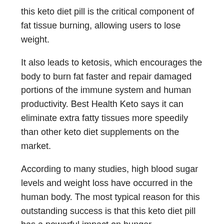this keto diet pill is the critical component of fat tissue burning, allowing users to lose weight.
It also leads to ketosis, which encourages the body to burn fat faster and repair damaged portions of the immune system and human productivity. Best Health Keto says it can eliminate extra fatty tissues more speedily than other keto diet supplements on the market.
According to many studies, high blood sugar levels and weight loss have occurred in the human body. The most typical reason for this outstanding success is that this keto diet pill has a powerful impact on hunger.
Furthermore, it also lowers sugar cravings and appetites for highly processed sweets, snacks, and carbohydrate-rich meals that just provide empty